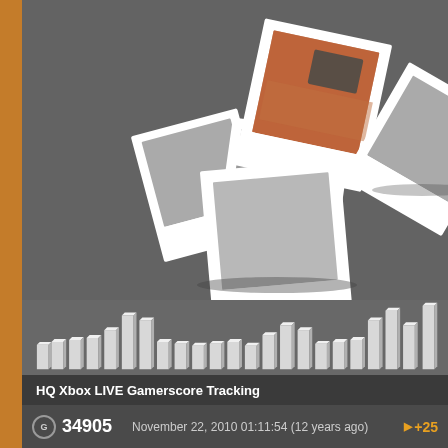[Figure (illustration): Scattered polaroid photo frames with one showing a gaming/screen image, decorative background element for Xbox LIVE gamerscore tracking page. 3D bar chart visible below the photos.]
HQ Xbox LIVE Gamerscore Tracking
34905  November 22, 2010 01:11:54 (12 years ago)  +25
34880  November 17, 2010 11:11:04 (12 years ago)  +20
34860  November 17, 2010 07:11:21 (12 years ago)  +20
34840  November 17, 2010 12:11:33 (12 years ago)  +25
34815  November 17, 2010 11:11:06 (12 years ago)  +20